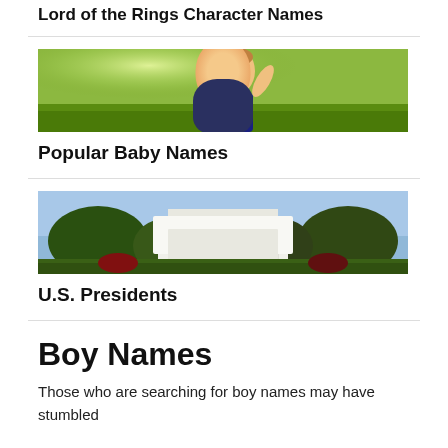Lord of the Rings Character Names
[Figure (photo): Photo of a smiling baby outdoors in a grassy field with sunlight in the background]
Popular Baby Names
[Figure (photo): Photo of the White House with trees and blue sky in background]
U.S. Presidents
Boy Names
Those who are searching for boy names may have stumbled